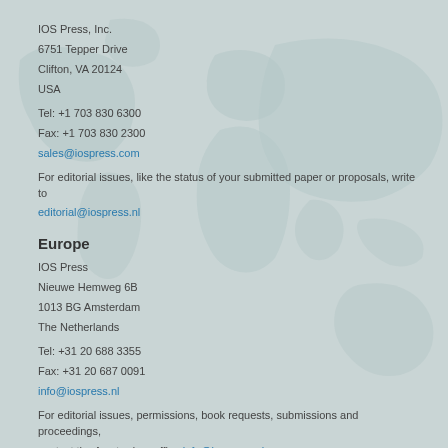IOS Press, Inc.
6751 Tepper Drive
Clifton, VA 20124
USA
Tel: +1 703 830 6300
Fax: +1 703 830 2300
sales@iospress.com
For editorial issues, like the status of your submitted paper or proposals, write to editorial@iospress.nl
Europe
IOS Press
Nieuwe Hemweg 6B
1013 BG Amsterdam
The Netherlands
Tel: +31 20 688 3355
Fax: +31 20 687 0091
info@iospress.nl
For editorial issues, permissions, book requests, submissions and proceedings, contact the Amsterdam office info@iospress.nl
Asia